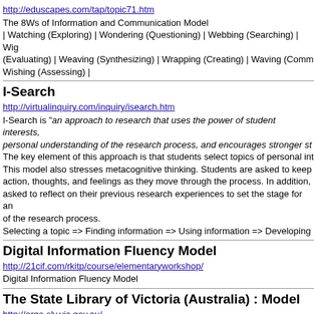http://eduscapes.com/tap/topic71.htm
The 8Ws of Information and Communication Model | Watching (Exploring) | Wondering (Questioning) | Webbing (Searching) | Wig (Evaluating) | Weaving (Synthesizing) | Wrapping (Creating) | Waving (Comm Wishing (Assessing) |
I-Search
http://virtualinquiry.com/inquiry/isearch.htm
I-Search is "an approach to research that uses the power of student interests, personal understanding of the research process, and encourages stronger st The key element of this approach is that students select topics of personal int This model also stresses metacognitive thinking. Students are asked to keep action, thoughts, and feelings as they move through the process. In addition, asked to reflect on their previous research experiences to set the stage for an of the research process. Selecting a topic => Finding information => Using information => Developing
Digital Information Fluency Model
http://21cif.com/rkitp/course/elementaryworkshop/
Digital Information Fluency Model
The State Library of Victoria (Australia) : Model
http://ergo.slv.vic.gov.au/
Research seems pretty easy – read a few books, visit a website or two, find s and your assignment is on its way, right? But good research actually takes a b This step-by-step guide shows you how to break down research tasks into ma parts, and find good quality relevant information to make your assignments th be.
Informational Literacy Sources and S...